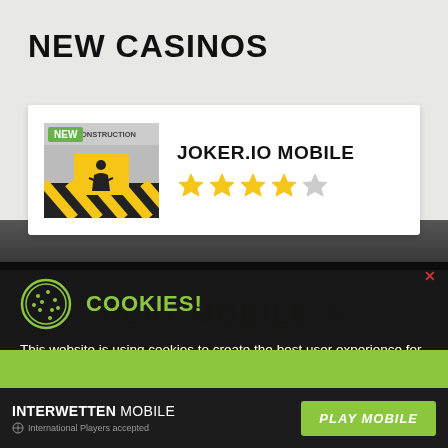NEW CASINOS
[Figure (screenshot): Casino card for Joker.io Mobile with construction site logo image and NEW badge, showing 4 out of 5 star rating]
JOKER.IO MOBILE
[Figure (infographic): Cookie consent overlay with cookie icon, COOKIES! heading, consent text, and OK button. Semi-transparent dark background over page content.]
COOKIES!
This website is using cookies to create the best user experience for you. Once you are using our website, you are giving consent to the usage of those cookies.
INTERWETTEN MOBILE  PLAY MOBILE  International Players accepted